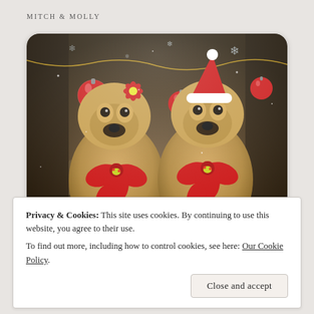MITCH & MOLLY
[Figure (photo): Two Airedale Terrier dogs dressed in Christmas outfits. The left dog wears a red poinsettia flower on its head, the right dog wears a red Santa hat. Both dogs have large red ribbon bows on their chests with holly decoration. In the foreground are colorful wrapped Christmas gifts. Red ornament balls hang in the background along with gold tinsel and snowflake decorations. The scene has a snowy, festive atmosphere.]
Privacy & Cookies: This site uses cookies. By continuing to use this website, you agree to their use.
To find out more, including how to control cookies, see here: Our Cookie Policy
Close and accept